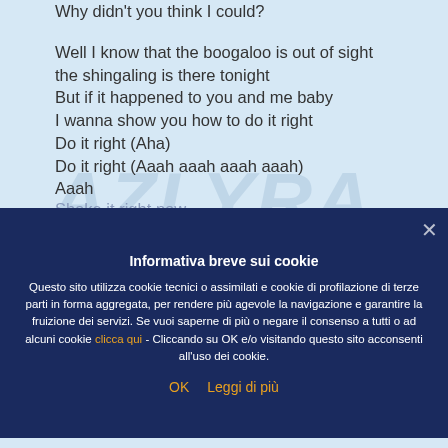Why didn't you think I could?

Well I know that the boogaloo is out of sight
the shingaling is there tonight
But if it happened to you and me baby
I wanna show you how to do it right
Do it right (Aha)
Do it right (Aaah aaah aaah aaah)
Aaah

Twist twist, shake it shake it shake it shake it baby
How we gonna loop-dee-loop
Shake it right now

Aaah

Twist twist, shake it shake it shake it shake it baby
Informativa breve sui cookie

Questo sito utilizza cookie tecnici o assimilati e cookie di profilazione di terze parti in forma aggregata, per rendere più agevole la navigazione e garantire la fruizione dei servizi. Se vuoi saperne di più o negare il consenso a tutti o ad alcuni cookie clicca qui - Cliccando su OK e/o visitando questo sito acconsenti all'uso dei cookie.

OK   Leggi di più